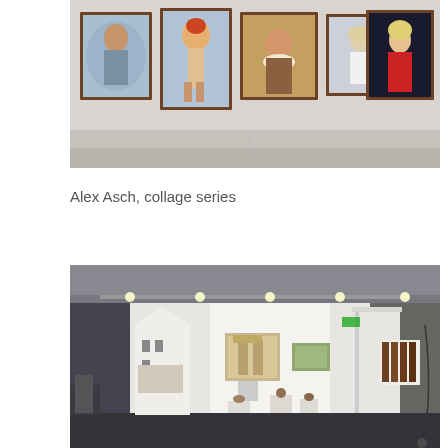[Figure (photo): Gallery wall showing five framed portrait paintings/collages hung in a row on a light gray wall. The artworks include figurative collage portraits with varied backgrounds.]
Alex Asch, collage series
[Figure (photo): Interior of an art gallery or exhibition space with white walls, dark floor, track lighting on ceiling, and various sculptures and artworks displayed on pedestals and walls.]